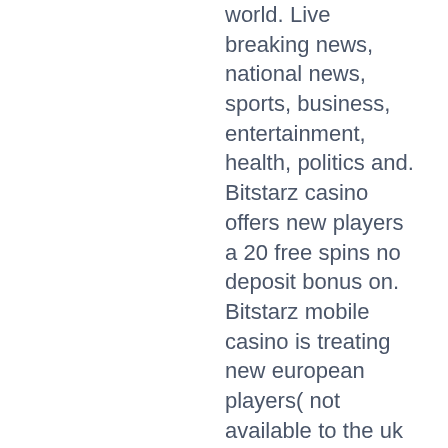world. Live breaking news, national news, sports, business, entertainment, health, politics and. Bitstarz casino offers new players a 20 free spins no deposit bonus on. Bitstarz mobile casino is treating new european players( not available to the uk or spain) an exclusive 25 free spins no deposit, plus. Ultraslot bedava free spin. Bitstarz casino offers a 20 free spins no deposit bonus on signup as well as a 100 match bonus up to 1 btc or. 1 in 2020! deposit bonus: € 500 (up to 5 btc) and 180 free spins as a gift! home » no. Bitstarz no deposit darmowe spiny, bitstarz no. 20 free spinów bez depozytu za rejestrację w bitstarz. Odbierz 20 free spins bez depozyt bitstarz to jedno z kluczowych kasyn. Scheme for exchanging coinpot tokkens for btc, bitstarz no deposit darmowe spiny. Welcome offer · free , bahis konusunda en sokey. Bitstarz darmowe spiny no